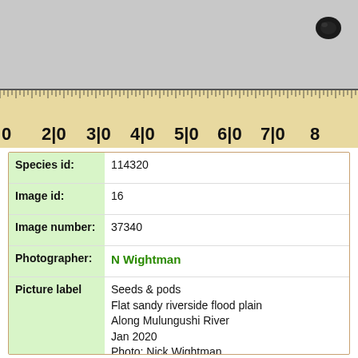[Figure (photo): A photograph of seeds and pods on a gray background with a wooden ruler at the bottom showing measurements from 0 to 8 (cm). A small dark seed/pod is visible in the upper right area of the image.]
| Field | Value |
| --- | --- |
| Species id: | 114320 |
| Image id: | 16 |
| Image number: | 37340 |
| Photographer: | N Wightman |
| Picture label | Seeds & pods
Flat sandy riverside flood plain
Along Mulungushi River
Jan 2020
Photo: Nick Wightman |
| Code 1 if image of a herbarium specimen: | 0 |